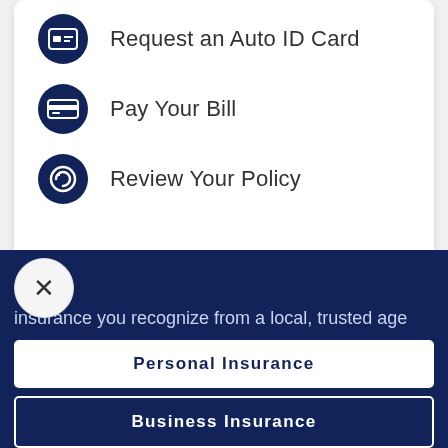Request an Auto ID Card
Pay Your Bill
Review Your Policy
insurance you recognize from a local, trusted age
Personal Insurance
Business Insurance